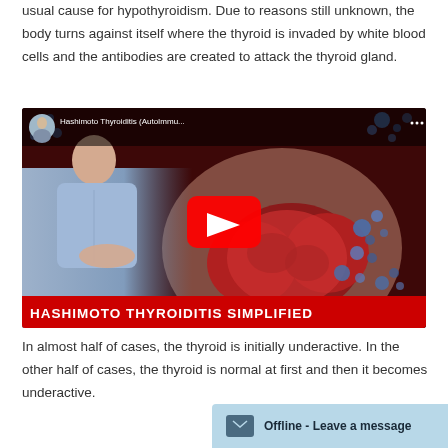usual cause for hypothyroidism. Due to reasons still unknown, the body turns against itself where the thyroid is invaded by white blood cells and the antibodies are created to attack the thyroid gland.
[Figure (screenshot): YouTube video thumbnail titled 'Hashimoto Thyroiditis (AutoImmu...' showing a man in a blue shirt on the left and a 3D illustration of a thyroid gland being attacked by blue molecules on the right, with a red play button in the center and a bold red banner reading 'HASHIMOTO THYROIDITIS SIMPLIFIED' at the bottom.]
In almost half of cases, the thyroid is initially underactive. In the other half of cases, the thyroid is normal at first and then it becomes underactive.
Offline - Leave a message